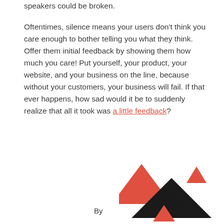speakers could be broken.

Oftentimes, silence means your users don't think you care enough to bother telling you what they think. Offer them initial feedback by showing them how much you care! Put yourself, your product, your website, and your business on the line, because without your customers, your business will fail. If that ever happens, how sad would it be to suddenly realize that all it took was a little feedback?
[Figure (logo): Three downward-pointing triangles arranged in a staggered pattern: a large red/coral triangle at top center-right, a large black triangle overlapping below-right, a small red/coral triangle at top far right, and a small red/coral triangle at bottom center.]
By